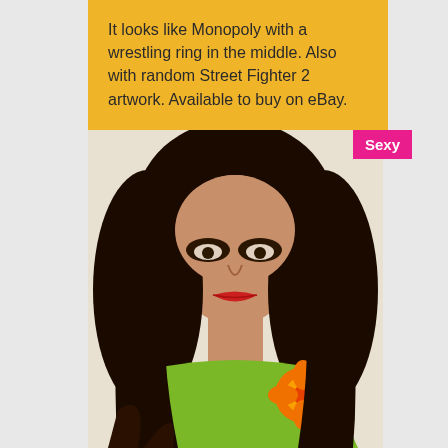It looks like Monopoly with a wrestling ring in the middle. Also with random Street Fighter 2 artwork. Available to buy on eBay.
[Figure (photo): Close-up photo of a woman with long dark hair, red lipstick, heavy eye makeup, looking down. She is wearing a green outfit with an orange flower accessory. A pink badge reading 'Sexy' appears in the top-right corner of the image.]